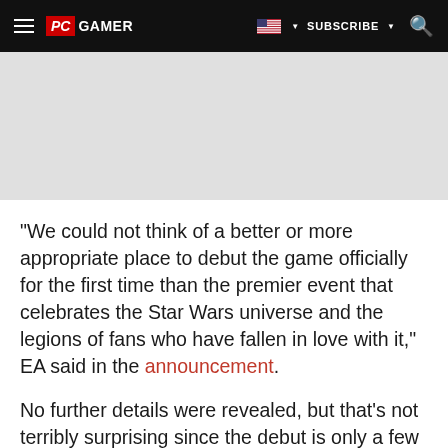PC GAMER | SUBSCRIBE
[Figure (other): Gray advertisement/banner placeholder area]
"We could not think of a better or more appropriate place to debut the game officially for the first time than the premier event that celebrates the Star Wars universe and the legions of fans who have fallen in love with it," EA said in the announcement.
No further details were revealed, but that's not terribly surprising since the debut is only a few weeks away: The Star Wars Celebration runs from April 16-19